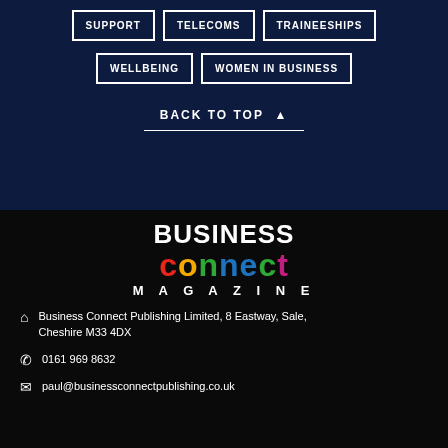SUPPORT
TELECOMS
TRAINEESHIPS
WELLBEING
WOMEN IN BUSINESS
BACK TO TOP
[Figure (logo): Business Connect Magazine logo with colorful 'connect' text]
Business Connect Publishing Limited, 8 Eastway, Sale, Cheshire M33 4DX
0161 969 8632
paul@businessconnectpublishing.co.uk